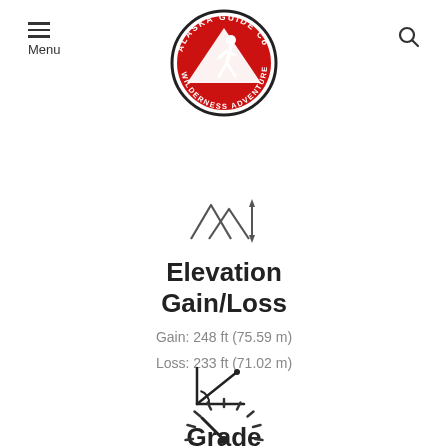[Figure (logo): Alaska Guide Co Wilderness Adventures circular logo with red background and white hiker silhouette]
[Figure (illustration): Mountain/tent icon with up-down arrow indicating elevation gain/loss]
Elevation Gain/Loss
Gain: 248 ft (75.59 m)
Loss: 233 ft (71.02 m)
[Figure (illustration): Grade/angle measurement icon showing incline symbol]
Grade
Average: 9°
Max: 20°
[Figure (illustration): Partial circular gauge/compass icon at bottom of page]